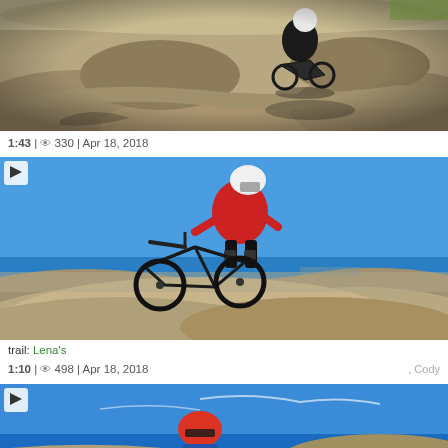[Figure (photo): Aerial/overhead view of a BMX pump track with dirt mounds, a rider with white helmet on a bike, shadows visible, dry grassy terrain]
1:43 | 👁 330 | Apr 18, 2018
[Figure (photo): Mountain biker in red shirt and white helmet performing a jump over a dirt mound with clear blue sky and flat desert landscape in background]
trail: Lena's
1:10 | 👁 498 | Apr 18, 2018 , Cody
[Figure (photo): Partial view of a rider on a bike against a bright blue sky with clouds, showing the beginning of a jump or drop]